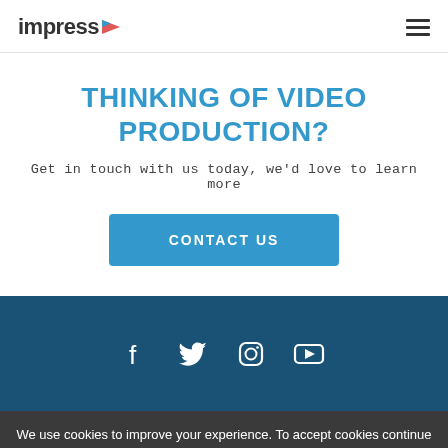impress
THINKING OF VIDEO PRODUCTION?
Get in touch with us today, we'd love to learn more
CONTACT US
[Figure (infographic): Dark blue footer section with social media icons: Facebook, Twitter, Instagram, YouTube]
We use cookies to improve your experience. To accept cookies continue browsing, or view our Cookies Policy to find out more
Got it